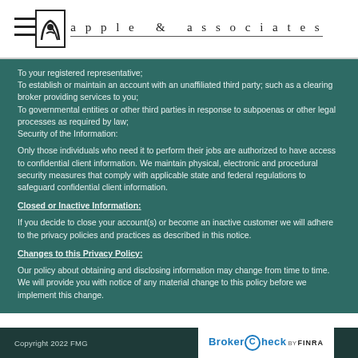apple & associates
To your registered representative;
To establish or maintain an account with an unaffiliated third party; such as a clearing broker providing services to you;
To governmental entities or other third parties in response to subpoenas or other legal processes as required by law;
Security of the Information:
Only those individuals who need it to perform their jobs are authorized to have access to confidential client information. We maintain physical, electronic and procedural security measures that comply with applicable state and federal regulations to safeguard confidential client information.
Closed or Inactive Information:
If you decide to close your account(s) or become an inactive customer we will adhere to the privacy policies and practices as described in this notice.
Changes to this Privacy Policy:
Our policy about obtaining and disclosing information may change from time to time. We will provide you with notice of any material change to this policy before we implement this change.
Copyright 2022 FMG  BrokerCheck by FINRA